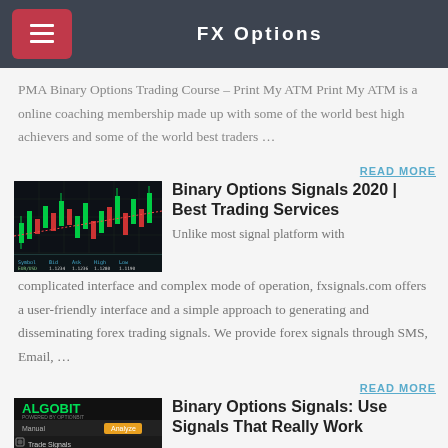FX Options
PMA Binary Options Trading Course – Print My ATM Print My ATM is a online coaching membership made up with some of the world best high achievers and some of the world best traders …
READ MORE
[Figure (screenshot): Trading chart screenshot showing candlestick chart with green and red candles on dark background with data table below]
Binary Options Signals 2020 | Best Trading Services
Unlike most signal platform with complicated interface and complex mode of operation, fxsignals.com offers a user-friendly interface and a simple approach to generating and disseminating forex trading signals. We provide forex signals through SMS, Email, …
READ MORE
[Figure (screenshot): Algobit powered by OptionBit trading signal platform screenshot with Trade Signals menu and Short Term / Long Term options]
Binary Options Signals: Use Signals That Really Work